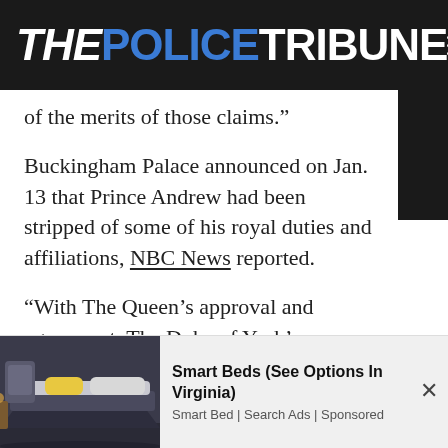THE POLICE TRIBUNE
of the merits of those claims.”
Buckingham Palace announced on Jan. 13 that Prince Andrew had been stripped of some of his royal duties and affiliations, NBC News reported.
“With The Queen’s approval and agreement, The Duke of York’s military affiliations and Royal patronages have
[Figure (photo): Advertisement showing a smart bed with a yellow pillow and gray upholstery]
Smart Beds (See Options In Virginia)
Smart Bed | Search Ads | Sponsored